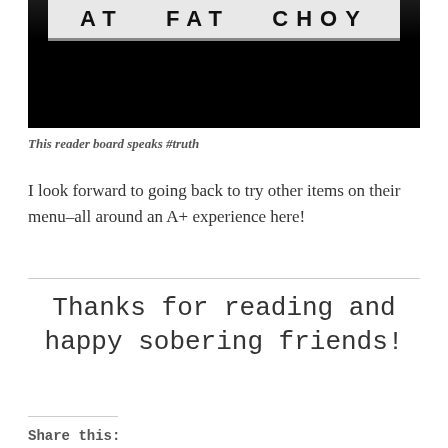[Figure (photo): Dark photo of a reader board sign showing text 'AT FAT CHOY' in white letters on a light background, with a dark/black background surrounding the sign.]
This reader board speaks #truth
I look forward to going back to try other items on their menu–all around an A+ experience here!
Thanks for reading and happy sobering friends!
Share this: